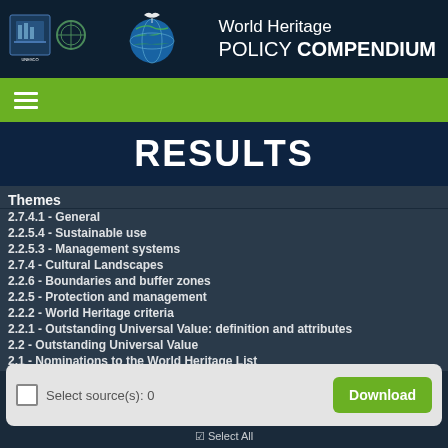World Heritage Policy COMPENDIUM
RESULTS
Themes
2.7.4.1 - General
2.2.5.4 - Sustainable use
2.2.5.3 - Management systems
2.7.4 - Cultural Landscapes
2.2.6 - Boundaries and buffer zones
2.2.5 - Protection and management
2.2.2 - World Heritage criteria
2.2.1 - Outstanding Universal Value: definition and attributes
2.2 - Outstanding Universal Value
2.1 - Nominations to the World Heritage List
Select source(s): 0
Download
Select All